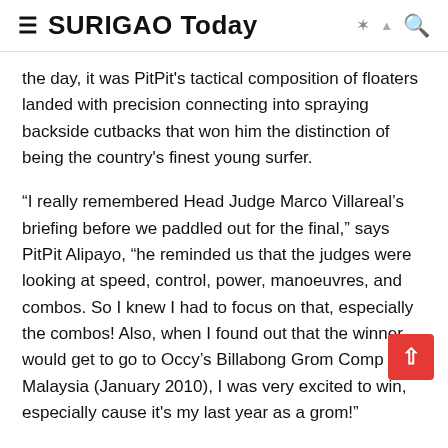SURIGAO Today
the day, it was PitPit's tactical composition of floaters landed with precision connecting into spraying backside cutbacks that won him the distinction of being the country's finest young surfer.
“I really remembered Head Judge Marco Villareal’s briefing before we paddled out for the final,” says PitPit Alipayo, “he reminded us that the judges were looking at speed, control, power, manoeuvres, and combos. So I knew I had to focus on that, especially the combos! Also, when I found out that the winner would get to go to Occy’s Billabong Grom Comp in Malaysia (January 2010), I was very excited to win, especially cause it's my last year as a grom!”
All the groms were stoked with the awesome conditions